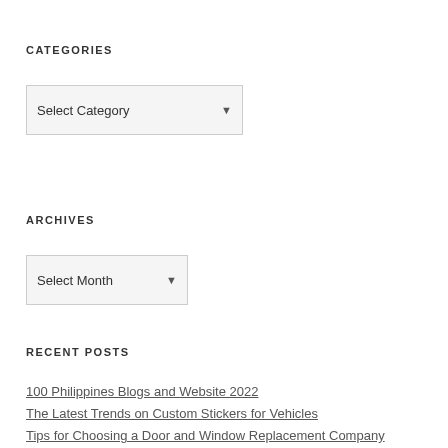CATEGORIES
[Figure (screenshot): Dropdown selector showing 'Select Category']
ARCHIVES
[Figure (screenshot): Dropdown selector showing 'Select Month']
RECENT POSTS
100 Philippines Blogs and Website 2022
The Latest Trends on Custom Stickers for Vehicles
Tips for Choosing a Door and Window Replacement Company